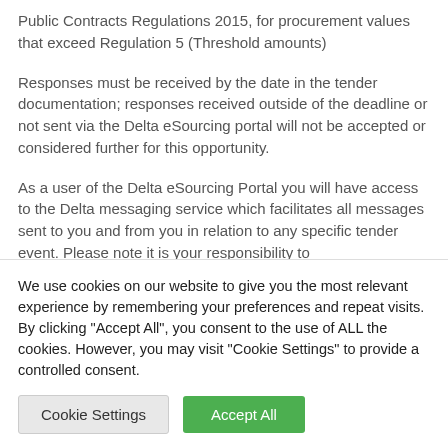Public Contracts Regulations 2015, for procurement values that exceed Regulation 5 (Threshold amounts)
Responses must be received by the date in the tender documentation; responses received outside of the deadline or not sent via the Delta eSourcing portal will not be accepted or considered further for this opportunity.
As a user of the Delta eSourcing Portal you will have access to the Delta messaging service which facilitates all messages sent to you and from you in relation to any specific tender event. Please note it is your responsibility to
We use cookies on our website to give you the most relevant experience by remembering your preferences and repeat visits. By clicking "Accept All", you consent to the use of ALL the cookies. However, you may visit "Cookie Settings" to provide a controlled consent.
Cookie Settings
Accept All